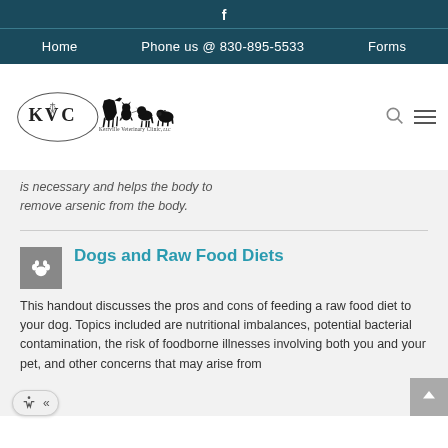f
Home  Phone us @ 830-895-5533  Forms
[Figure (logo): Kerrville Veterinary Clinic logo with KVC initials inside an oval, animal silhouettes of a horse, cat, dog, and pig, and text 'Kerrville Veterinary Clinic, LLC']
is necessary and helps the body to remove arsenic from the body.
Dogs and Raw Food Diets
This handout discusses the pros and cons of feeding a raw food diet to your dog. Topics included are nutritional imbalances, potential bacterial contamination, the risk of foodborne illnesses involving both you and your pet, and other concerns that may arise from